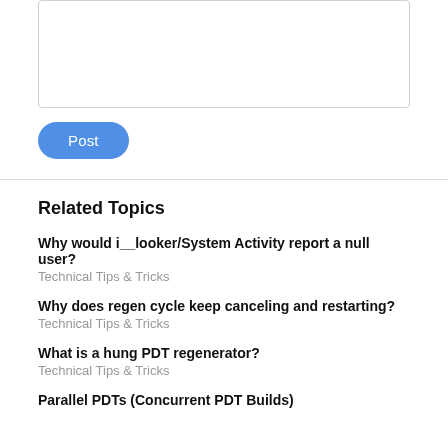[Figure (other): Text input area box (empty textarea with border)]
Post
Related Topics
Why would i__looker/System Activity report a null user?
Technical Tips & Tricks
Why does regen cycle keep canceling and restarting?
Technical Tips & Tricks
What is a hung PDT regenerator?
Technical Tips & Tricks
Parallel PDTs (Concurrent PDT Builds)